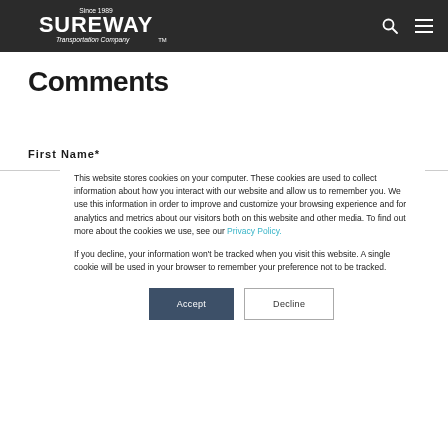Sureway Transportation Company — Since 1989
Comments
First Name*
This website stores cookies on your computer. These cookies are used to collect information about how you interact with our website and allow us to remember you. We use this information in order to improve and customize your browsing experience and for analytics and metrics about our visitors both on this website and other media. To find out more about the cookies we use, see our Privacy Policy.

If you decline, your information won't be tracked when you visit this website. A single cookie will be used in your browser to remember your preference not to be tracked.